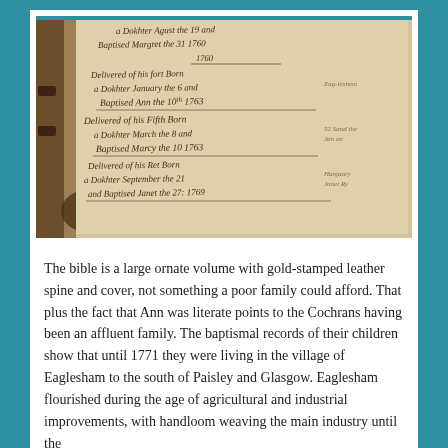[Figure (photo): Photograph of an old handwritten Bible record page showing baptismal entries in cursive script from the 1760s, with entries mentioning deliveries of children, daughters, dates in January, March, September, and years 1760, 1763, 1769. The book appears aged with darkened edges.]
The bible is a large ornate volume with gold-stamped leather spine and cover, not something a poor family could afford. That plus the fact that Ann was literate points to the Cochrans having been an affluent family. The baptismal records of their children show that until 1771 they were living in the village of Eaglesham to the south of Paisley and Glasgow. Eaglesham flourished during the age of agricultural and industrial improvements, with handloom weaving the main industry until the